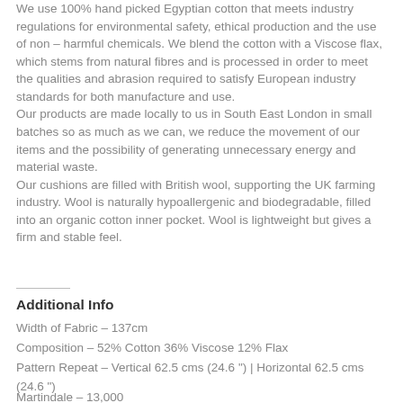We use 100% hand picked Egyptian cotton that meets industry regulations for environmental safety, ethical production and the use of non – harmful chemicals. We blend the cotton with a Viscose flax, which stems from natural fibres and is processed in order to meet the qualities and abrasion required to satisfy European industry standards for both manufacture and use.
Our products are made locally to us in South East London in small batches so as much as we can, we reduce the movement of our items and the possibility of generating unnecessary energy and material waste.
Our cushions are filled with British wool, supporting the UK farming industry. Wool is naturally hypoallergenic and biodegradable, filled into an organic cotton inner pocket. Wool is lightweight but gives a  firm and stable feel.
Additional Info
Width of Fabric – 137cm
Composition – 52% Cotton 36% Viscose 12% Flax
Pattern Repeat – Vertical 62.5 cms (24.6 ") | Horizontal 62.5 cms (24.6 ")
Martindale – 13,000